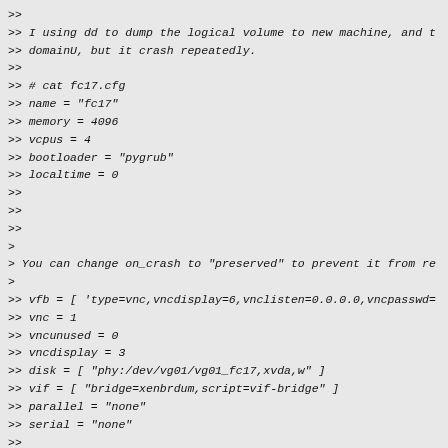>> 
>> I using dd to dump the logical volume to new machine, and t
>> domainU, but it crash repeatedly.
>>
>> # cat fc17.cfg
>> name = "fc17"
>> memory = 4096
>> vcpus = 4
>> bootloader = "pygrub"
>> localtime = 0
>> on_poweroff = "destroy"
>> on_reboot = "restart"
>> on_crash = "restart"
>
> You can change on_crash to "preserved" to prevent it from re
>
>> vfb = [ 'type=vnc,vncdisplay=6,vnclisten=0.0.0.0,vncpasswd=
>> vnc = 1
>> vncunused = 0
>> vncdisplay = 3
>> disk = [ "phy:/dev/vg01/vg01_fc17,xvda,w" ]
>> vif = [ "bridge=xenbrdum,script=vif-bridge" ]
>> parallel = "none"
>> serial = "none"
>>